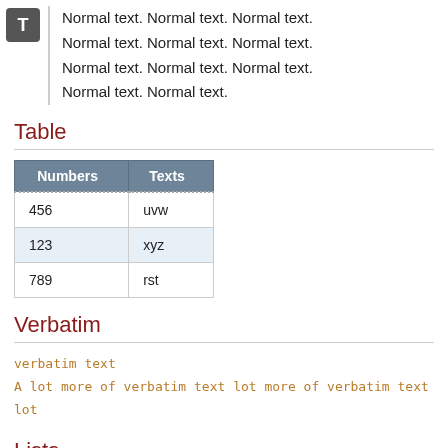Normal text. Normal text. Normal text. Normal text. Normal text. Normal text. Normal text. Normal text. Normal text. Normal text. Normal text.
Table
| Numbers | Texts |
| --- | --- |
| 456 | uvw |
| 123 | xyz |
| 789 | rst |
Verbatim
verbatim text
A lot more of verbatim text lot more of verbatim text lot
Lists